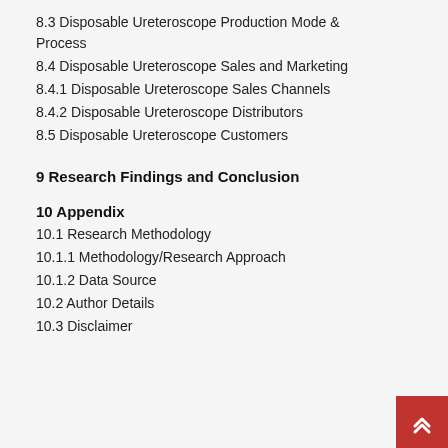8.3 Disposable Ureteroscope Production Mode & Process
8.4 Disposable Ureteroscope Sales and Marketing
8.4.1 Disposable Ureteroscope Sales Channels
8.4.2 Disposable Ureteroscope Distributors
8.5 Disposable Ureteroscope Customers
9 Research Findings and Conclusion
10 Appendix
10.1 Research Methodology
10.1.1 Methodology/Research Approach
10.1.2 Data Source
10.2 Author Details
10.3 Disclaimer